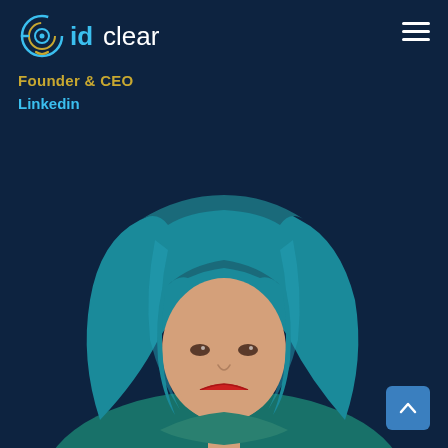[Figure (logo): idclear company logo with circular eye/target icon on the left and 'idclear' text on the right]
Founder & CEO
Linkedin
[Figure (photo): Portrait of a woman with teal/blue wavy hair and bangs, red lipstick, smiling slightly, on a dark navy background]
[Figure (other): Scroll-to-top button (blue square with upward arrow) in bottom-right corner]